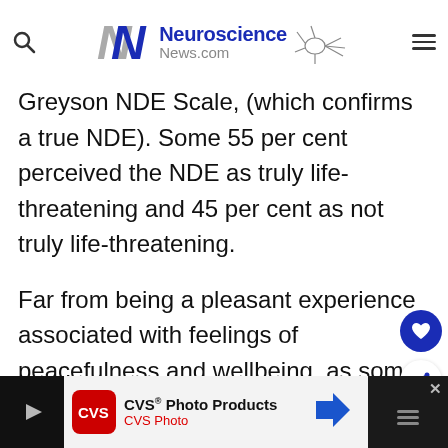Neuroscience News.com
Greyson NDE Scale, (which confirms a true NDE). Some 55 per cent perceived the NDE as truly life-threatening and 45 per cent as not truly life-threatening.
Far from being a pleasant experience associated with feelings of peacefulness and wellbeing, as some previous studies have reported, the new study found a much higher rate of people reporting their NDE as
[Figure (screenshot): CVS Photo Products advertisement banner at the bottom of the page]